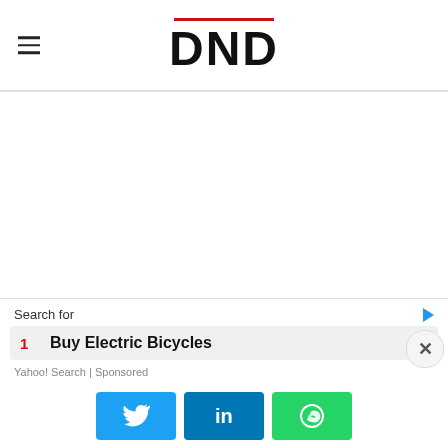DND
[Figure (screenshot): White blank content area]
Search for
1  Buy Electric Bicycles
Yahoo! Search | Sponsored
[Figure (other): Social sharing buttons: Twitter, LinkedIn, WhatsApp]